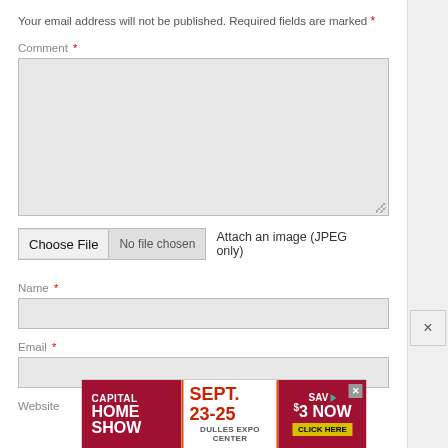Your email address will not be published. Required fields are marked *
Comment *
[Figure (screenshot): Empty comment textarea input box with resize handle]
Choose File  No file chosen  Attach an image (JPEG only)
Name *
[Figure (screenshot): Empty name text input box]
Email *
[Figure (screenshot): Empty email text input box]
Website
[Figure (screenshot): Capital Home Show advertisement banner: SEPT. 23-25, DULLES EXPO CENTER, SAV $3 NOW, CLICK HERE]